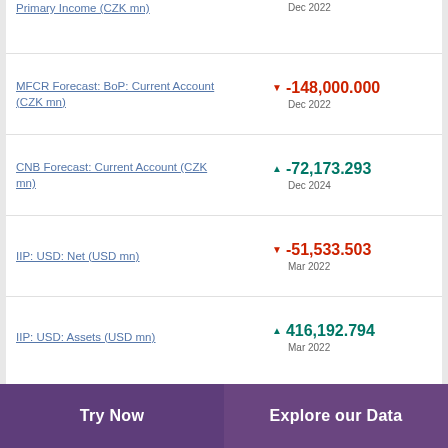Primary Income (CZK mn)
MFCR Forecast: BoP: Current Account (CZK mn)
CNB Forecast: Current Account (CZK mn)
IIP: USD: Net (USD mn)
IIP: USD: Assets (USD mn)
Try Now | Explore our Data